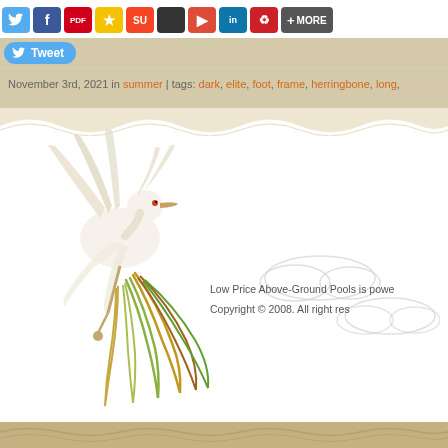[Figure (screenshot): Social share toolbar with icons: Twitter, Facebook, PDF, Bookmark, StumbleUpon, black square, Google Plus, LinkedIn, Pinterest, and MORE button]
[Figure (illustration): Tweet button with Twitter bird icon]
November 3rd, 2021 in summer | tags: dark, elite, foot, frame, herringbone, long,
[Figure (illustration): Decorative white egret/crane bird illustration with colorful trailing feathers, cloud motifs in the background, on white background panel]
Low Price Above-Ground Pools is powe
Copyright © 2008. All right res
[Figure (photo): Decorative fabric/textile with embossed wave and floral pattern in tan/khaki color at the bottom of the page]